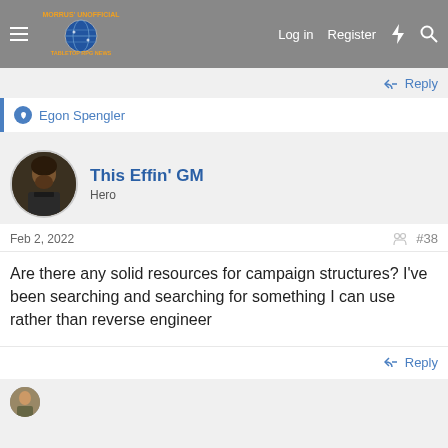Morrus' Unofficial Tabletop RPG News — Log in | Register
↩ Reply
👍 Egon Spengler
This Effin' GM
Hero
Feb 2, 2022   #38
Are there any solid resources for campaign structures? I've been searching and searching for something I can use rather than reverse engineer
↩ Reply